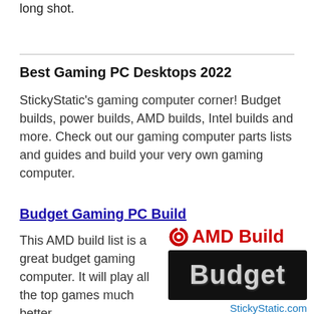long shot.
Best Gaming PC Desktops 2022
StickyStatic's gaming computer corner! Budget builds, power builds, AMD builds, Intel builds and more. Check out our gaming computer parts lists and guides and build your very own gaming computer.
Budget Gaming PC Build
This AMD build list is a great budget gaming computer. It will play all the top games much better
[Figure (logo): AMD Build logo with red target icon and 'AMD Build' text in red, followed by a dark banner with 'Budget' in silver/grey text, and 'StickyStatic.com' link below]